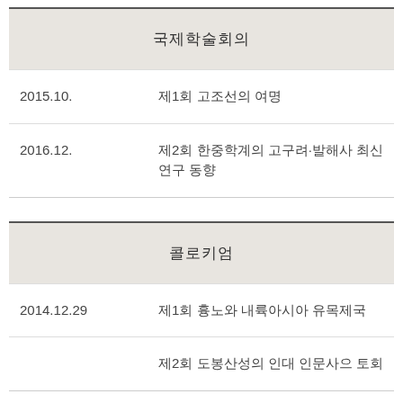| 날짜 | 제목 |
| --- | --- |
|  | 국제학술회의 |
| 2015.10. | 제1회 고조선의 여명 |
| 2016.12. | 제2회 한중학계의 고구려·발해사 최신 연구 동향 |
| 날짜 | 제목 |
| --- | --- |
|  | 콜로키엄 |
| 2014.12.29 | 제1회 흉노와 내륙아시아 유목제국 |
|  | 제2회 도봉산성의 인대 인문사으 토회 |